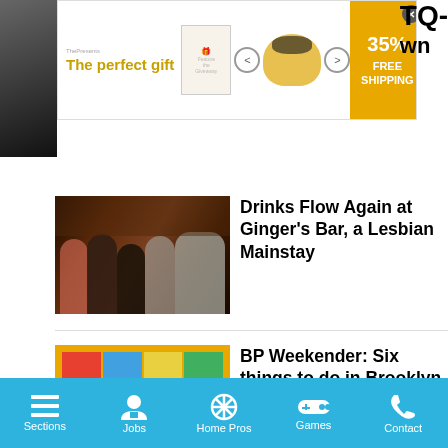[Figure (screenshot): Advertisement banner: 'The perfect gift' with food bowl image, discount arrows, 35% FREE SHIPPING promo badge]
[Figure (photo): Group of women smiling at a bar]
Drinks Flow Again at Ginger's Bar, a Lesbian Mainstay
[Figure (photo): Colorful folk art painting displayed on an orange/yellow wall]
BP Weekender: Six things to do in Brooklyn March 11-13
Sections  Jobs  Home Pros  Games  Contact